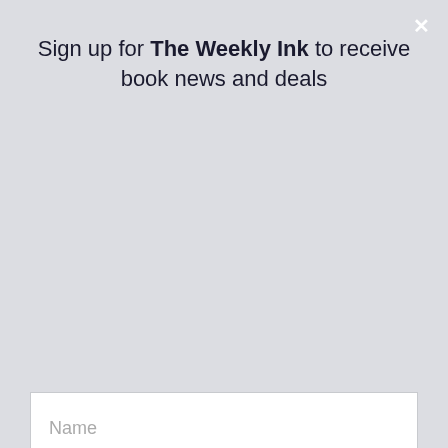Sign up for The Weekly Ink to receive book news and deals
[Figure (screenshot): Newsletter signup form with Name and Email input fields and a SUBSCRIBE button]
Drawn to him, I crossed the room without a second thought. “Nice tie.”
He tugged at the bright collar at his neck, grumbling, “Don’t forget the cummerbund.”
“That’s nothing. Look at me.” I plucked at the shiny, pink fabric. “Isn’t this the most ghastly thing ever to